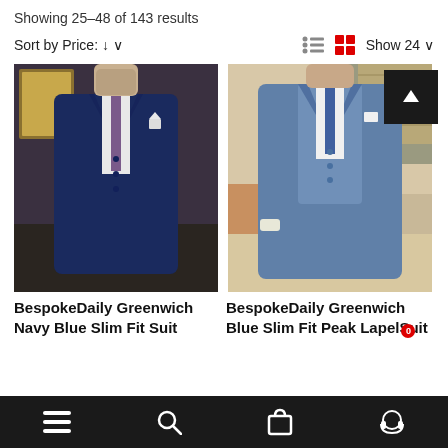Showing 25–48 of 143 results
Sort by Price: ↓ ∨   Show 24 ∨
[Figure (photo): Man wearing a navy blue slim fit three-piece suit with white shirt and patterned purple tie, displayed in a formal setting]
[Figure (photo): Man wearing a blue slim fit peak lapel suit with white shirt and blue tie, posed in a modern interior]
BespokeDaily Greenwich Navy Blue Slim Fit Suit
BespokeDaily Greenwich Blue Slim Fit Peak Lapel Suit
☰  🔍  🛍  🎧